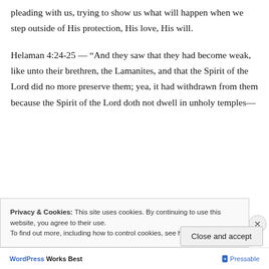pleading with us, trying to show us what will happen when we step outside of His protection, His love, His will.
Helaman 4:24-25 — “And they saw that they had become weak, like unto their brethren, the Lamanites, and that the Spirit of the Lord did no more preserve them; yea, it had withdrawn from them because the Spirit of the Lord doth not dwell in unholy temples—
Privacy & Cookies: This site uses cookies. By continuing to use this website, you agree to their use. To find out more, including how to control cookies, see here: Cookie Policy
WordPress Works Best   Pressable